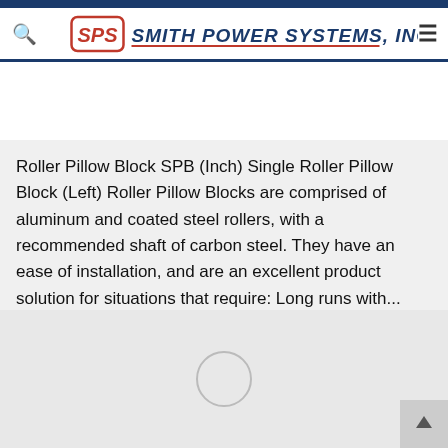Smith Power Systems, Inc. — navigation header
Roller Pillow Block SPB (Inch) Single Roller Pillow Block (Left) Roller Pillow Blocks are comprised of aluminum and coated steel rollers, with a recommended shaft of carbon steel. They have an ease of installation, and are an excellent product solution for situations that require: Long runs with...
[Figure (photo): Product image loading placeholder with spinner circle on light gray background]